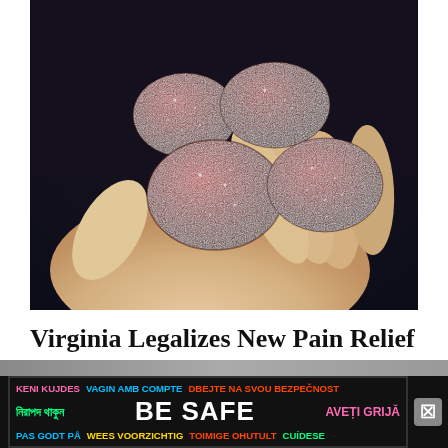[Figure (photo): Close-up photo of several dark red sugar-coated gummy candies resting in an open human palm against a dark background.]
Virginia Legalizes New Pain Relief Gummy And It’s Going Viral
Health Headline
[Figure (infographic): Advertisement banner with multilingual 'BE SAFE' text in various colors on a black background, with a close button.]